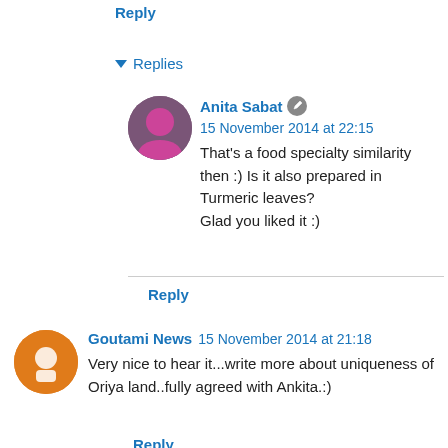Reply
▼ Replies
Anita Sabat  15 November 2014 at 22:15
That's a food specialty similarity then :) Is it also prepared in Turmeric leaves?
Glad you liked it :)
Reply
Goutami News  15 November 2014 at 21:18
Very nice to hear it...write more about uniqueness of Oriya land..fully agreed with Ankita.:)
Reply
▼ Replies
Anita Sabat  15 November 2014 at 22:22
Thanks for reading, & for commenting :)